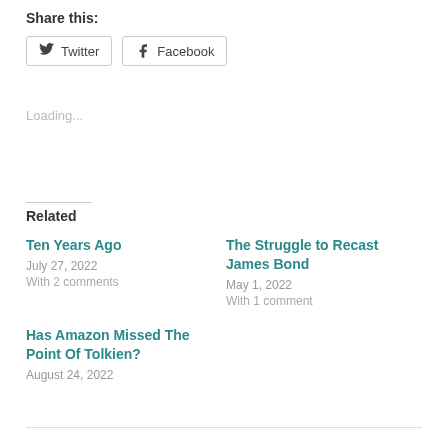Share this:
Twitter  Facebook
Loading...
Related
Ten Years Ago
July 27, 2022
With 2 comments
The Struggle to Recast James Bond
May 1, 2022
With 1 comment
Has Amazon Missed The Point Of Tolkien?
August 24, 2022